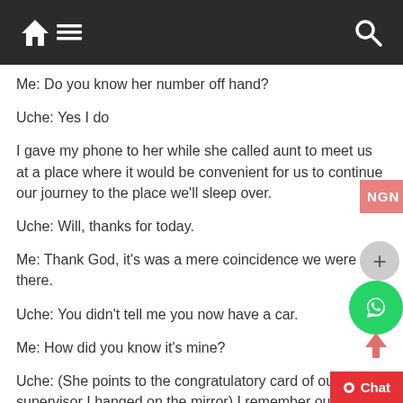Navigation bar with home, menu, and search icons
Me: Do you know her number off hand?
Uche: Yes I do
I gave my phone to her while she called aunt to meet us at a place where it would be convenient for us to continue our journey to the place we'll sleep over.
Uche: Will, thanks for today.
Me: Thank God, it's was a mere coincidence we were there.
Uche: You didn't tell me you now have a car.
Me: How did you know it's mine?
Uche: (She points to the congratulatory card of our supervisor I hanged on the mirror) I remember our supervisor gave us that after our external defense.
Me: Oh, that's right. You guessed right.